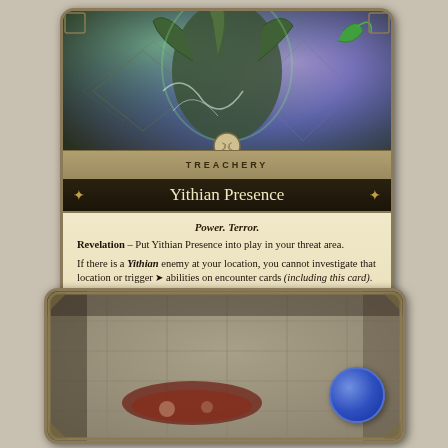[Figure (illustration): Arkham Horror LCG card: Yithian Presence — Treachery card showing a monstrous Yithian creature with green tentacles and purple mystical energy. Card type label reads TREACHERY.]
Yithian Presence
Power. Terror. Revelation – Put Yithian Presence into play in your threat area. If there is a Yithian enemy at your location, you cannot investigate that location or trigger [action] abilities on encounter cards (including this card). [action] Choose and discard 2 cards from your hand: Discard Yithian Presence.
Illus. Scott Purdy   © 2018 FFG   31/44   [T] 260
[Figure (illustration): Arkham Horror LCG location or encounter card showing a stone room with a bloody scene on the floor. A blue circular token is visible in the lower right. Decorative ornate border frames the card.]